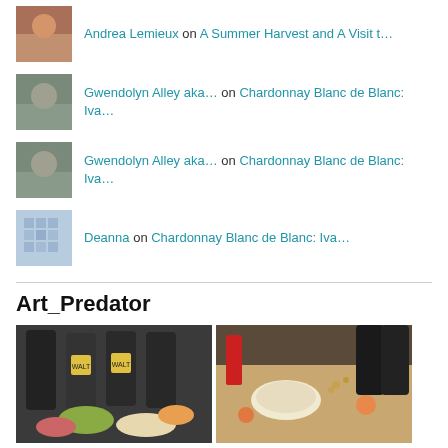Andrea Lemieux on A Summer Harvest and A Visit t…
Gwendolyn Alley aka… on Chardonnay Blanc de Blanc: Iva…
Gwendolyn Alley aka… on Chardonnay Blanc de Blanc: Iva…
Deanna on Chardonnay Blanc de Blanc: Iva…
Art_Predator
[Figure (photo): Photo of wine bottles (WALT label) with charcuterie board including olives, cheese, meats, and flowers]
[Figure (photo): Photo of wine bottles with cheese board featuring nuts, dried fruits, flowers, and wine glasses]